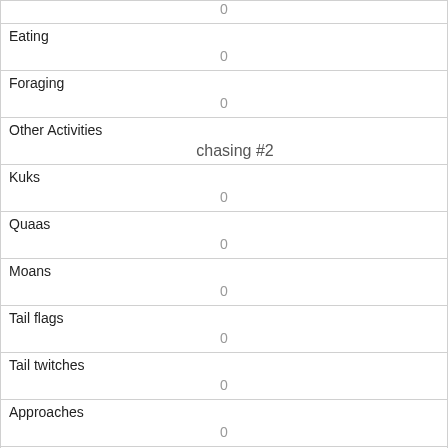|  | 0 |
| Eating | 0 |
| Foraging | 0 |
| Other Activities | chasing #2 |
| Kuks | 0 |
| Quaas | 0 |
| Moans | 0 |
| Tail flags | 0 |
| Tail twitches | 0 |
| Approaches | 0 |
| Indifferent | 0 |